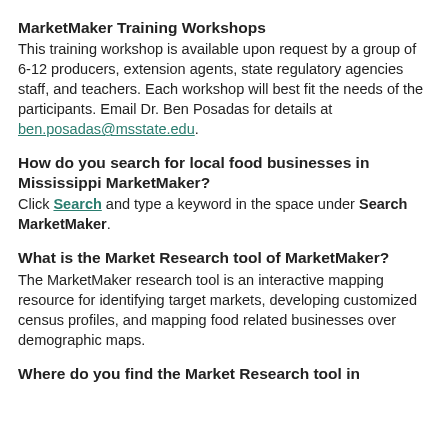MarketMaker Training Workshops
This training workshop is available upon request by a group of 6-12 producers, extension agents, state regulatory agencies staff, and teachers. Each workshop will best fit the needs of the participants. Email Dr. Ben Posadas for details at ben.posadas@msstate.edu.
How do you search for local food businesses in Mississippi MarketMaker?
Click Search and type a keyword in the space under Search MarketMaker.
What is the Market Research tool of MarketMaker?
The MarketMaker research tool is an interactive mapping resource for identifying target markets, developing customized census profiles, and mapping food related businesses over demographic maps.
Where do you find the Market Research tool in